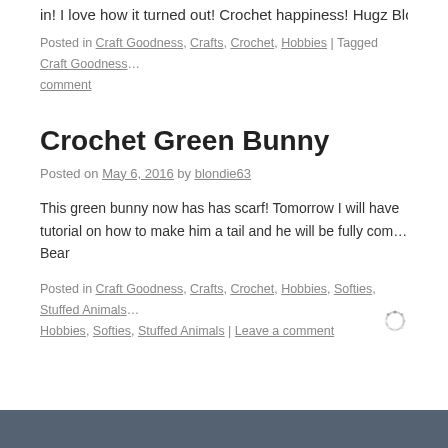in! I love how it turned out! Crochet happiness! Hugz Blond...
Posted in Craft Goodness, Crafts, Crochet, Hobbies | Tagged Craft Goodness... comment
Crochet Green Bunny
Posted on May 6, 2016 by blondie63
This green bunny now has has scarf! Tomorrow I will have tutorial on how to make him a tail and he will be fully com... Bear
Posted in Craft Goodness, Crafts, Crochet, Hobbies, Softies, Stuffed Animals... Hobbies, Softies, Stuffed Animals | Leave a comment